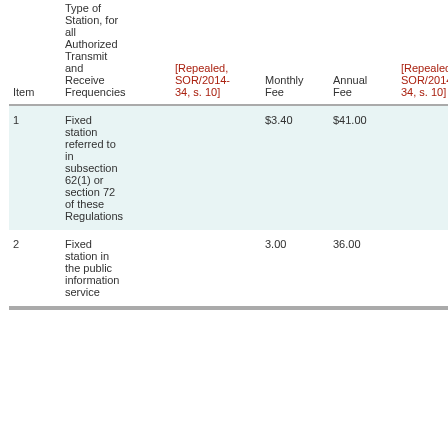| Item | Type of Station, for all Authorized Transmit and Receive Frequencies | [Repealed, SOR/2014-34, s. 10] | Monthly Fee | Annual Fee | [Repealed, SOR/2014-34, s. 10] |
| --- | --- | --- | --- | --- | --- |
| 1 | Fixed station referred to in subsection 62(1) or section 72 of these Regulations |  | $3.40 | $41.00 |  |
| 2 | Fixed station in the public information service |  | 3.00 | 36.00 |  |